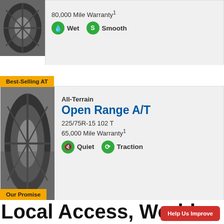80,000 Mile Warranty¹
Wet  Smooth
Best-Selling AT
All-Terrain
Open Range A/T
225/75R-15 102 T
65,000 Mile Warranty¹
Quiet  Traction
Our Promise
Local Access, World-Class Quality